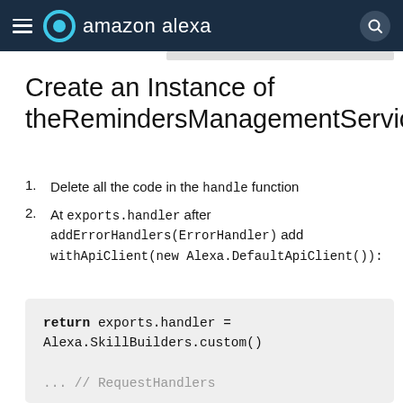amazon alexa
Create an Instance of theRemindersManagementServiceCli
Delete all the code in the handle function
At exports.handler after addErrorHandlers(ErrorHandler) add withApiClient(new Alexa.DefaultApiClient()):
return exports.handler = Alexa.SkillBuilders.custom()

... // RequestHandlers

.addErrorHandlers(ErrorHandle